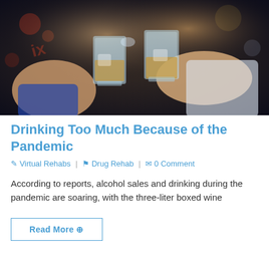[Figure (photo): Two people clinking whiskey glasses in a dark bar setting with bokeh background lighting]
Drinking Too Much Because of the Pandemic
Virtual Rehabs | Drug Rehab | 0 Comment
According to reports, alcohol sales and drinking during the pandemic are soaring, with the three-liter boxed wine
Read More ⊕